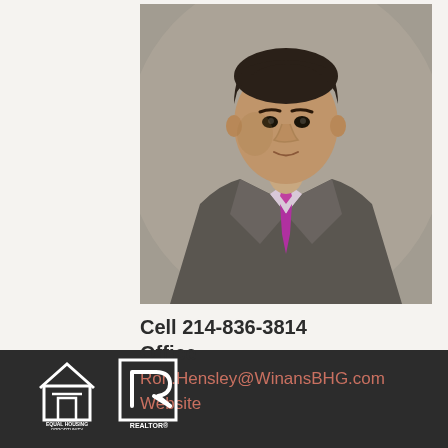[Figure (photo): Professional headshot of a man in a gray suit with a pink/magenta tie and light lavender dress shirt, photographed against a neutral background.]
Cell 214-836-3814
Office
Ron.Hensley@WinansBHG.com
Website
[Figure (logo): Equal Housing Opportunity logo (house with equal sign) and REALTOR logo (stylized R) in white on dark background]